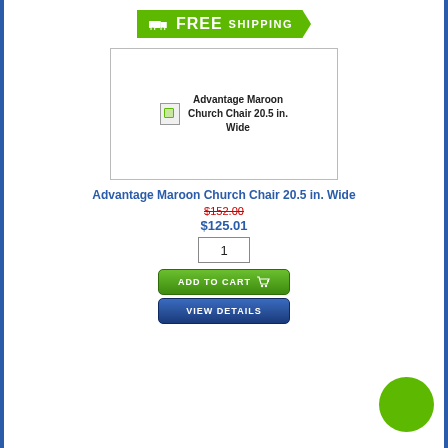[Figure (infographic): Green free shipping banner with truck icon and text 'FREE SHIPPING']
[Figure (photo): Product image placeholder showing broken image icon with alt text: Advantage Maroon Church Chair 20.5 in. Wide]
Advantage Maroon Church Chair 20.5 in. Wide
$152.00 (strikethrough)
$125.01
1 (quantity box)
[Figure (infographic): Green 'ADD TO CART' button with cart icon]
[Figure (infographic): Blue 'VIEW DETAILS' button]
[Figure (infographic): Green circle badge in bottom right corner]